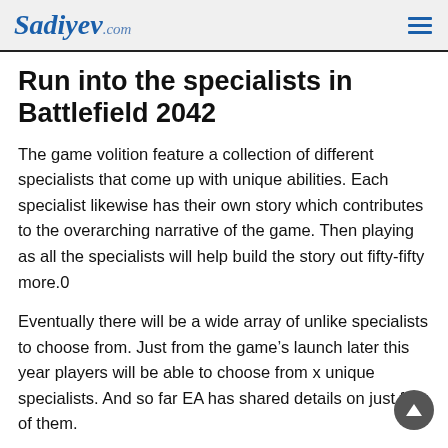Sadiyev.com
Run into the specialists in Battlefield 2042
The game volition feature a collection of different specialists that come up with unique abilities. Each specialist likewise has their own story which contributes to the overarching narrative of the game. Then playing as all the specialists will help build the story out fifty-fifty more.0
Eventually there will be a wide array of unlike specialists to choose from. Just from the game's launch later this year players will be able to choose from x unique specialists. And so far EA has shared details on just four of them.